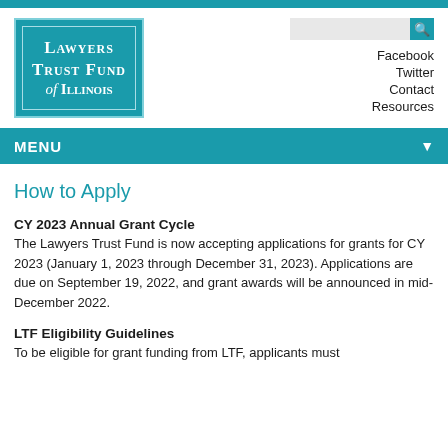[Figure (logo): Lawyers Trust Fund of Illinois logo — teal square with white serif text and double border]
Facebook
Twitter
Contact
Resources
MENU
How to Apply
CY 2023 Annual Grant Cycle
The Lawyers Trust Fund is now accepting applications for grants for CY 2023 (January 1, 2023 through December 31, 2023). Applications are due on September 19, 2022, and grant awards will be announced in mid-December 2022.
LTF Eligibility Guidelines
To be eligible for grant funding from LTF, applicants must